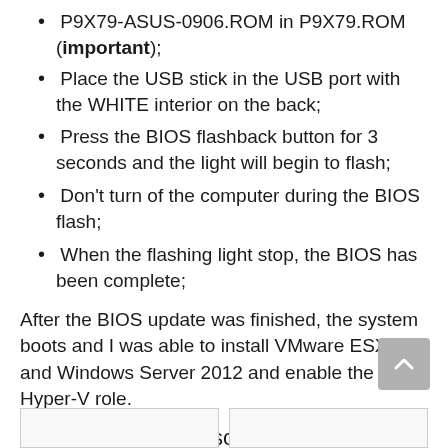P9X79-ASUS-0906.ROM in P9X79.ROM (important);
Place the USB stick in the USB port with the WHITE interior on the back;
Press the BIOS flashback button for 3 seconds and the light will begin to flash;
Don’t turn of the computer during the BIOS flash;
When the flashing light stop, the BIOS has been complete;
After the BIOS update was finished, the system boots and I was able to install VMware ESXi and Windows Server 2012 and enable the Hyper-V role.
vSphere 5 / ESXi 5 screenshots: